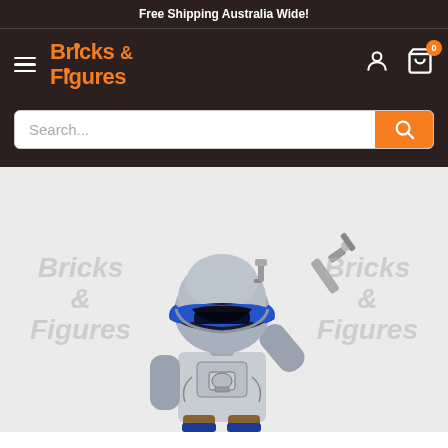Free Shipping Australia Wide!
[Figure (logo): Bricks & Figures logo with hamburger menu, account icon, and cart icon with badge 0]
[Figure (screenshot): Search bar with placeholder text 'Search...' and orange search button]
[Figure (photo): LEGO Jango Fett minifigure with silver/blue Mandalorian helmet, blaster pistol raised, gray torso with armor printing, blue arms, on light gray background. Watermark 'Bricks & Figures' appears on both left and right sides.]